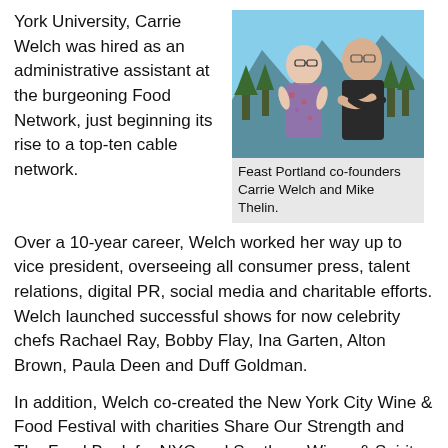York University, Carrie Welch was hired as an administrative assistant at the burgeoning Food Network, just beginning its rise to a top-ten cable network.
[Figure (photo): Two people posing together in front of a mountain/forest backdrop. One person wearing a floral dress, the other in a dark jacket with arms crossed.]
Feast Portland co-founders Carrie Welch and Mike Thelin.
Over a 10-year career, Welch worked her way up to vice president, overseeing all consumer press, talent relations, digital PR, social media and charitable efforts. Welch launched successful shows for now celebrity chefs Rachael Ray, Bobby Flay, Ina Garten, Alton Brown, Paula Deen and Duff Goldman.
In addition, Welch co-created the New York City Wine & Food Festival with charities Share Our Strength and The Food Bank for NYC and Southern Wines & Spirits, which continues to raise more than $1 million each year to help end childhood hunger.
Welch also co-initiated Food Network’s first public affairs program, “Good Food Gardens,” bringing teaching gardens to